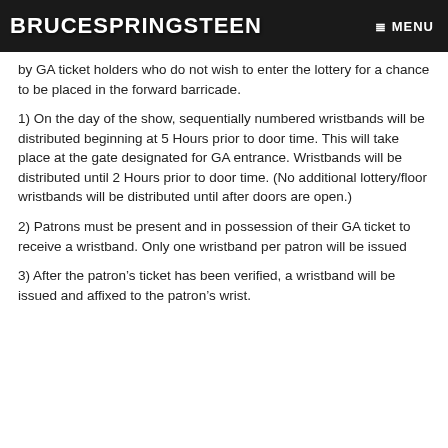BRUCE SPRINGSTEEN  ≡ MENU
by GA ticket holders who do not wish to enter the lottery for a chance to be placed in the forward barricade.
1) On the day of the show, sequentially numbered wristbands will be distributed beginning at 5 Hours prior to door time. This will take place at the gate designated for GA entrance. Wristbands will be distributed until 2 Hours prior to door time. (No additional lottery/floor wristbands will be distributed until after doors are open.)
2) Patrons must be present and in possession of their GA ticket to receive a wristband. Only one wristband per patron will be issued
3) After the patron's ticket has been verified, a wristband will be issued and affixed to the patron's wrist.